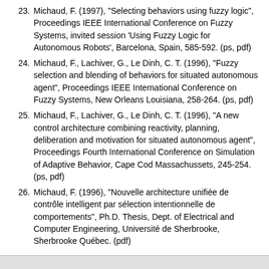23. Michaud, F. (1997), "Selecting behaviors using fuzzy logic", Proceedings IEEE International Conference on Fuzzy Systems, invited session 'Using Fuzzy Logic for Autonomous Robots', Barcelona, Spain, 585-592. (ps, pdf)
24. Michaud, F., Lachiver, G., Le Dinh, C. T. (1996), "Fuzzy selection and blending of behaviors for situated autonomous agent", Proceedings IEEE International Conference on Fuzzy Systems, New Orleans Louisiana, 258-264. (ps, pdf)
25. Michaud, F., Lachiver, G., Le Dinh, C. T. (1996), "A new control architecture combining reactivity, planning, deliberation and motivation for situated autonomous agent", Proceedings Fourth International Conference on Simulation of Adaptive Behavior, Cape Cod Massachussets, 245-254. (ps, pdf)
26. Michaud, F. (1996), "Nouvelle architecture unifiée de contrôle intelligent par sélection intentionnelle de comportements", Ph.D. Thesis, Dept. of Electrical and Computer Engineering, Université de Sherbrooke, Sherbrooke Québec. (pdf)